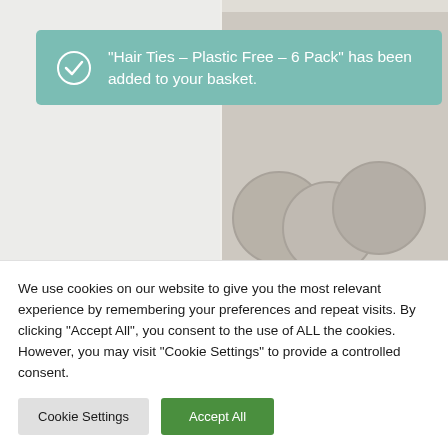[Figure (screenshot): Top portion of e-commerce product page showing two product images. Left side appears to be a shampoo product, right side shows circular tin containers.]
“Hair Ties – Plastic Free – 6 Pack” has been added to your basket.
SHAMPOO
Mini Shampoo Kubes- Sensitive Skin
£1.75
BEAUTY
Petroleum Free Lip Balm
£2.50
We use cookies on our website to give you the most relevant experience by remembering your preferences and repeat visits. By clicking “Accept All”, you consent to the use of ALL the cookies. However, you may visit “Cookie Settings” to provide a controlled consent.
Cookie Settings
Accept All